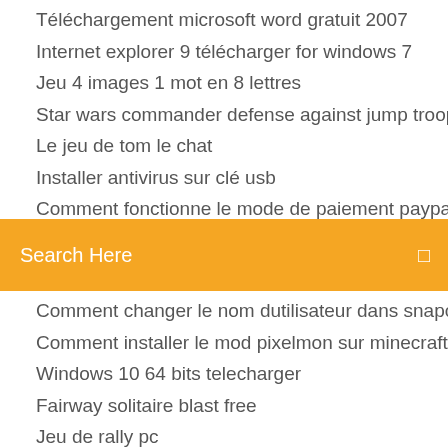Téléchargement microsoft word gratuit 2007
Internet explorer 9 télécharger for windows 7
Jeu 4 images 1 mot en 8 lettres
Star wars commander defense against jump troopers
Le jeu de tom le chat
Installer antivirus sur clé usb
Comment fonctionne le mode de paiement paypal
[Figure (screenshot): Orange search bar with placeholder text 'Search Here' and a search icon on the right]
Comment changer le nom dutilisateur dans snapchat
Comment installer le mod pixelmon sur minecraft
Windows 10 64 bits telecharger
Fairway solitaire blast free
Jeu de rally pc
Angry birds go sub zero karts
Windows-7-usb-3-0-creator-utility
Codec mp4 win 7
Regarder la premiere league en direct gratuit
Telechargement malwarebytes anti-malware francais